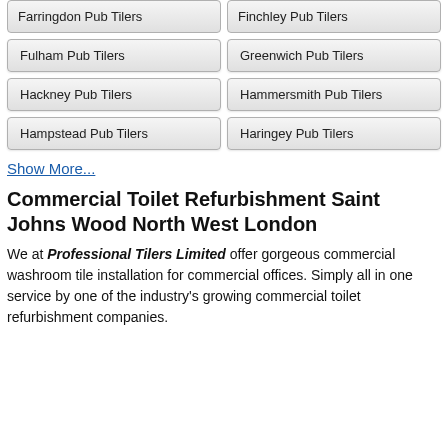Farringdon Pub Tilers
Finchley Pub Tilers
Fulham Pub Tilers
Greenwich Pub Tilers
Hackney Pub Tilers
Hammersmith Pub Tilers
Hampstead Pub Tilers
Haringey Pub Tilers
Show More...
Commercial Toilet Refurbishment Saint Johns Wood North West London
We at Professional Tilers Limited offer gorgeous commercial washroom tile installation for commercial offices. Simply all in one service by one of the industry's growing commercial toilet refurbishment companies.